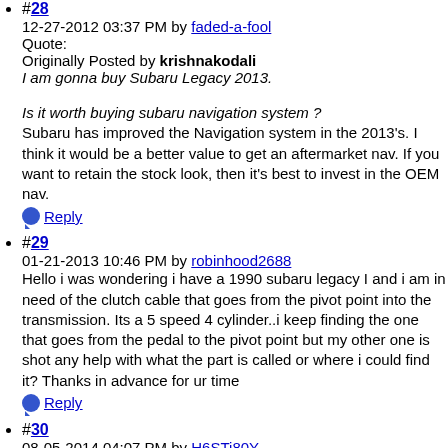#28
12-27-2012 03:37 PM by faded-a-fool
Quote:
Originally Posted by krishnakodali
I am gonna buy Subaru Legacy 2013.

Is it worth buying subaru navigation system ?
Subaru has improved the Navigation system in the 2013's. I think it would be a better value to get an aftermarket nav. If you want to retain the stock look, then it's best to invest in the OEM nav.
Reply
#29
01-21-2013 10:46 PM by robinhood2688
Hello i was wondering i have a 1990 subaru legacy I and i am in need of the clutch cable that goes from the pivot point into the transmission. Its a 5 speed 4 cylinder..i keep finding the one that goes from the pedal to the pivot point but my other one is shot any help with what the part is called or where i could find it? Thanks in advance for ur time
Reply
#30
08-05-2014 04:07 PM by H6STi80Y